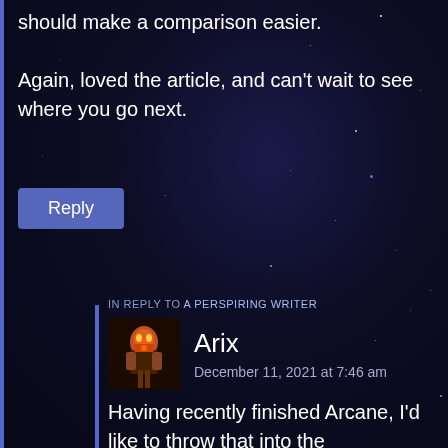should make a comparison easier.

Again, loved the article, and can't wait to see where you go next.
[Figure (other): Reply button — a purple/blue rectangular button with white text 'Reply']
IN REPLY TO A PERSPIRING WRITER
[Figure (illustration): Avatar image of a fantasy warrior character with red and gold colors]
Arix
December 11, 2021 at 7:46 am
Having recently finished Arcane, I'd like to throw that into the recommendeds. Coming into it as an outsider who has never played